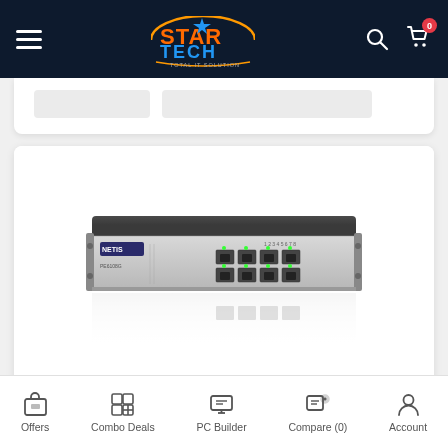Star Tech - Total IT Solution
[Figure (photo): NETIS PE6108G 8-Port Gigabit Ethernet switch, silver/dark gray rack-mountable unit with 8 RJ45 ports on front panel, shown with reflection]
NETIS PE6108G Unmanaged 8-Port Gigabit Switch with 8
Offers | Combo Deals | PC Builder | Compare (0) | Account